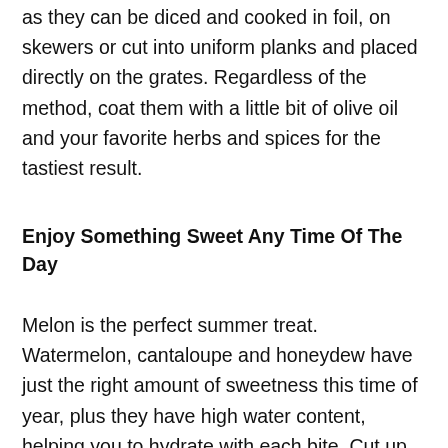as they can be diced and cooked in foil, on skewers or cut into uniform planks and placed directly on the grates. Regardless of the method, coat them with a little bit of olive oil and your favorite herbs and spices for the tastiest result.
Enjoy Something Sweet Any Time Of The Day
Melon is the perfect summer treat. Watermelon, cantaloupe and honeydew have just the right amount of sweetness this time of year, plus they have high water content, helping you to hydrate with each bite. Cut up slices for an easy snack on the go or